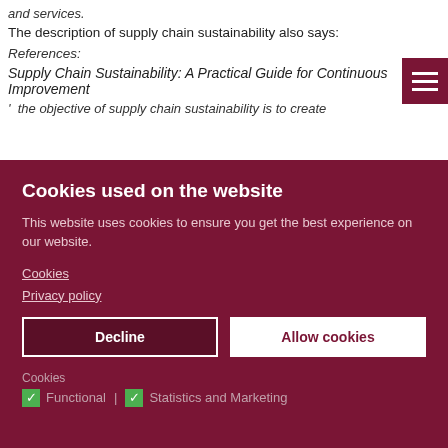and services.
The description of supply chain sustainability also says:
References:
Supply Chain Sustainability: A Practical Guide for Continuous Improvement
' the objective of supply chain sustainability is to create
Cookies used on the website
This website uses cookies to ensure you get the best experience on our website.
Cookies
Privacy policy
Decline
Allow cookies
Cookies
Functional | Statistics and Marketing